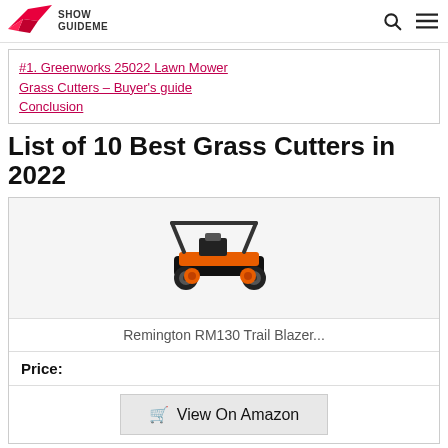Show Guideme
#1. Greenworks 25022 Lawn Mower
Grass Cutters – Buyer's guide
Conclusion
List of 10 Best Grass Cutters in 2022
[Figure (photo): Remington RM130 Trail Blazer lawn mower — orange and black push mower on white background]
Remington RM130 Trail Blazer...
Price:
View On Amazon